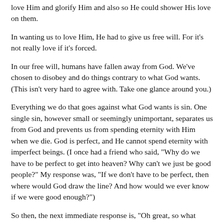love Him and glorify Him and also so He could shower His love on them.
In wanting us to love Him, He had to give us free will. For it's not really love if it's forced.
In our free will, humans have fallen away from God. We've chosen to disobey and do things contrary to what God wants. (This isn't very hard to agree with. Take one glance around you.)
Everything we do that goes against what God wants is sin. One single sin, however small or seemingly unimportant, separates us from God and prevents us from spending eternity with Him when we die. God is perfect, and He cannot spend eternity with imperfect beings. (I once had a friend who said, "Why do we have to be perfect to get into heaven? Why can't we just be good people?" My response was, "If we don't have to be perfect, then where would God draw the line? And how would we ever know if we were good enough?")
So then, the next immediate response is, "Oh great, so what you're saying is that since I maybe did one little itty bitty thing wrong, I'm